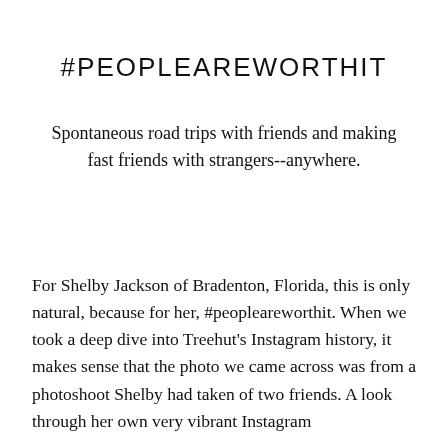#PEOPLEAREWORTHIT
Spontaneous road trips with friends and making fast friends with strangers--anywhere.
For Shelby Jackson of Bradenton, Florida, this is only natural, because for her, #peopleareworthit. When we took a deep dive into Treehut's Instagram history, it makes sense that the photo we came across was from a photoshoot Shelby had taken of two friends. A look through her own very vibrant Instagram